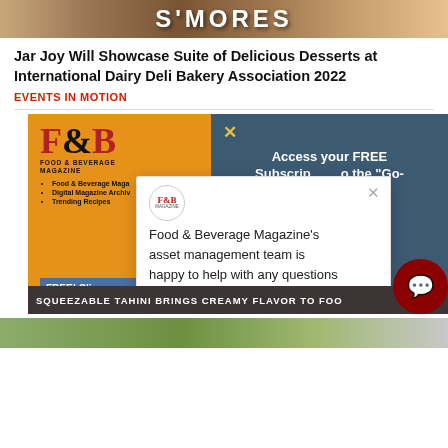[Figure (photo): Top cropped image showing S'MORES text on baked goods with food in background]
Jar Joy Will Showcase Suite of Delicious Desserts at International Dairy Deli Bakery Association 2022
EVENTS IN MOTION
[Figure (screenshot): Food & Beverage Magazine subscription popup advertisement with orange and dark blue panels, showing F&B logo, Access your FREE Subscription to the Go- text, and a white chat popup saying Food & Beverage Magazine's asset management team is happy to help with any questions. Bottom banner: SQUEEZABLE TAHINI BRINGS CREAMY FLAVOR TO FOO. Circular chat icon bottom right.]